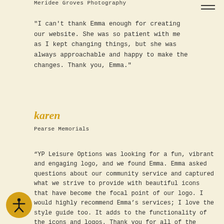Meridee Groves Photography
"I can't thank Emma enough for creating our website. She was so patient with me as I kept changing things, but she was always approachable and happy to make the changes. Thank you, Emma."
karen
Pearse Memorials
“YP Leisure Options was looking for a fun, vibrant and engaging logo, and we found Emma. Emma asked questions about our community service and captured what we strive to provide with beautiful icons that have become the focal point of our logo. I would highly recommend Emma’s services; I love the style guide too. It adds to the functionality of the icons and logos. Thank you for all of the communication; it wonderful to work with you!”
[Figure (other): Accessibility button icon (person with arms outstretched in circle)]